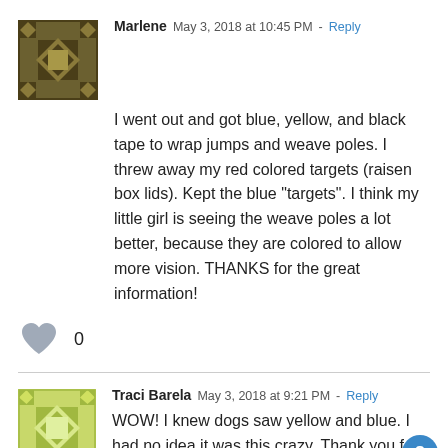[Figure (illustration): Dark brown/olive decorative avatar icon with geometric quilt-like pattern for user Marlene]
Marlene  May 3, 2018 at 10:45 PM - Reply
I went out and got blue, yellow, and black tape to wrap jumps and weave poles. I threw away my red colored targets (raisen box lids). Kept the blue “targets”. I think my little girl is seeing the weave poles a lot better, because they are colored to allow more vision. THANKS for the great information!
[Figure (illustration): Gray heart like/vote icon with count 0]
[Figure (illustration): Olive/yellow-green decorative avatar icon with geometric quilt-like pattern for user Traci Barela]
Traci Barela  May 3, 2018 at 9:21 PM - Reply
WOW! I knew dogs saw yellow and blue. I had no idea it was this crazy. Thank you for